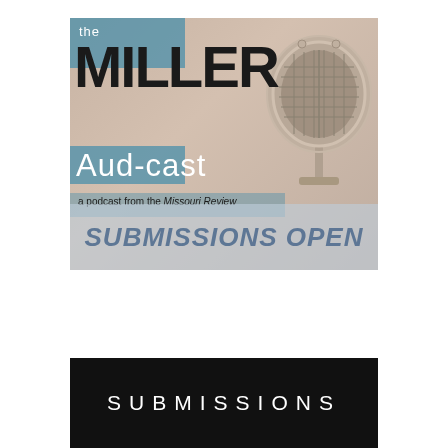[Figure (illustration): The Miller Aud-cast podcast logo showing a vintage microphone on a blurred background with text 'the MILLER Aud-cast a podcast from the Missouri Review' and 'SUBMISSIONS OPEN' banner]
SUBMISSIONS